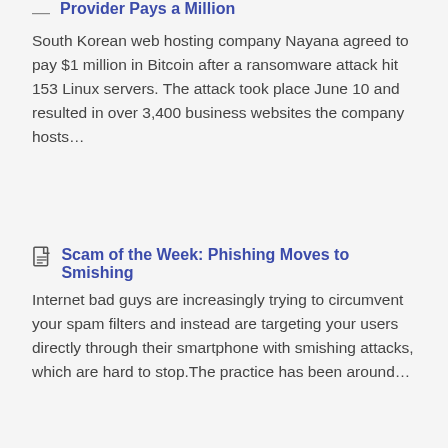Provider Pays a Million
South Korean web hosting company Nayana agreed to pay $1 million in Bitcoin after a ransomware attack hit 153 Linux servers. The attack took place June 10 and resulted in over 3,400 business websites the company hosts…
Scam of the Week: Phishing Moves to Smishing
Internet bad guys are increasingly trying to circumvent your spam filters and instead are targeting your users directly through their smartphone with smishing attacks, which are hard to stop.The practice has been around…